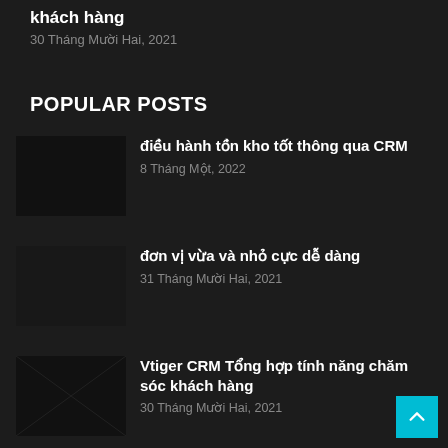khách hàng
30 Tháng Mười Hai, 2021
POPULAR POSTS
điều hành tồn kho tốt thông qua CRM
8 Tháng Một, 2022
đơn vị vừa và nhỏ cực dễ dàng
31 Tháng Mười Hai, 2021
Vtiger CRM Tổng hợp tính năng chăm sóc khách hàng
30 Tháng Mười Hai, 2021